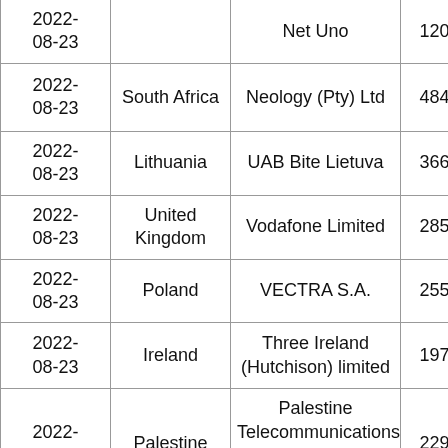| 2022-08-23 |  | Net Uno | 120 |  |
| 2022-08-23 | South Africa | Neology (Pty) Ltd | 484 |  |
| 2022-08-23 | Lithuania | UAB Bite Lietuva | 366 |  |
| 2022-08-23 | United Kingdom | Vodafone Limited | 285 |  |
| 2022-08-23 | Poland | VECTRA S.A. | 255 |  |
| 2022-08-23 | Ireland | Three Ireland (Hutchison) limited | 197 |  |
| 2022-08-23 | Palestine | Palestine Telecommunications Company (PALTEL) | 229 |  |